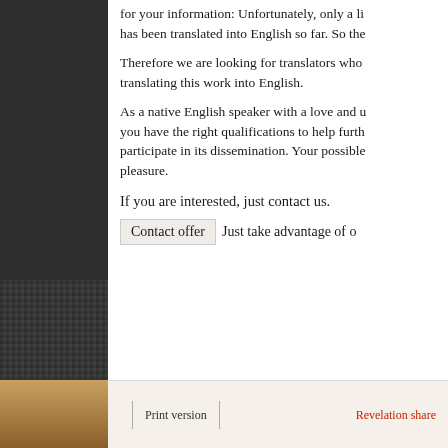for your information: Unfortunately, only a little has been translated into English so far. So the
Therefore we are looking for translators who translating this work into English.
As a native English speaker with a love and u you have the right qualifications to help furth participate in its dissemination. Your possible pleasure.
If you are interested, just contact us.
Contact offer  Just take advantage of o
Print version   Revelation share